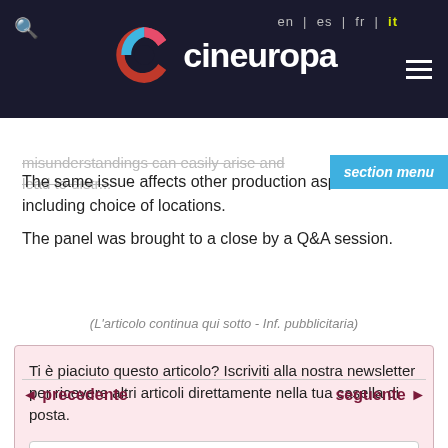cineuropa — en | es | fr | it
misunderstandings can easily arise and lead to distrust. The same issue affects other production aspects, including choice of locations.
The panel was brought to a close by a Q&A session.
(L'articolo continua qui sotto - Inf. pubblicitaria)
Ti è piaciuto questo articolo? Iscriviti alla nostra newsletter per ricevere altri articoli direttamente nella tua casella di posta.
◄ precedente
seguente ►